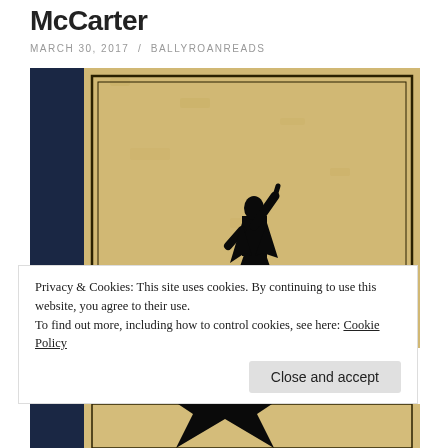McCarter
MARCH 30, 2017 / BALLYROANREADS
[Figure (illustration): Hamilton musical book cover: parchment-colored background with dark navy blue left spine strip, decorative border, and black silhouette of a man standing on a large star with one arm raised]
Privacy & Cookies: This site uses cookies. By continuing to use this website, you agree to their use.
To find out more, including how to control cookies, see here: Cookie Policy
Close and accept